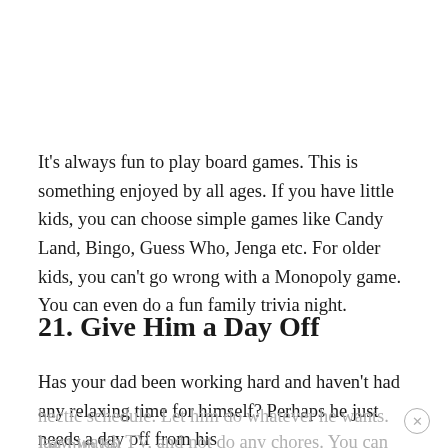It's always fun to play board games. This is something enjoyed by all ages. If you have little kids, you can choose simple games like Candy Land, Bingo, Guess Who, Jenga etc. For older kids, you can't go wrong with a Monopoly game. You can even do a fun family trivia night.
21. Give Him a Day Off
Has your dad been working hard and haven't had any relaxing time for himself? Perhaps he just needs a day off from his hectic schedule. Let him do whatever he wants. Let him be lazy, watch TV, and not do any chores. You can even surprise